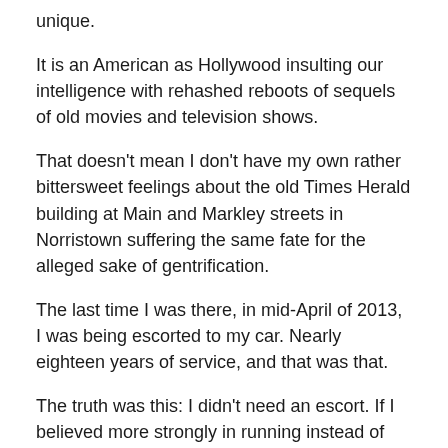unique.
It is an American as Hollywood insulting our intelligence with rehashed reboots of sequels of old movies and television shows.
That doesn't mean I don't have my own rather bittersweet feelings about the old Times Herald building at Main and Markley streets in Norristown suffering the same fate for the alleged sake of gentrification.
The last time I was there, in mid-April of 2013, I was being escorted to my car. Nearly eighteen years of service, and that was that.
The truth was this: I didn't need an escort. If I believed more strongly in running instead of walking, I would have ran to my car. It was a mercy firing,